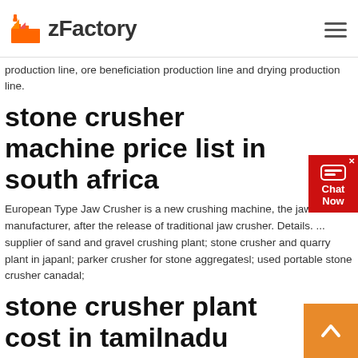zFactory
production line, ore beneficiation production line and drying production line.
stone crusher machine price list in south africa
European Type Jaw Crusher is a new crushing machine, the jaw crusher manufacturer, after the release of traditional jaw crusher. Details. ... supplier of sand and gravel crushing plant; stone crusher and quarry plant in japanl; parker crusher for stone aggregatesl; used portable stone crusher canadal;
stone crusher plant cost in tamilnadu
Stone Crusher Plant in Chennai, Tamil Nadu Stone IndiaMART. Business listings of Stone Crusher Plant manufacturers, suppliers and exporters manufacturers, wholesalers, traders with Stone Crusher Plant prices for